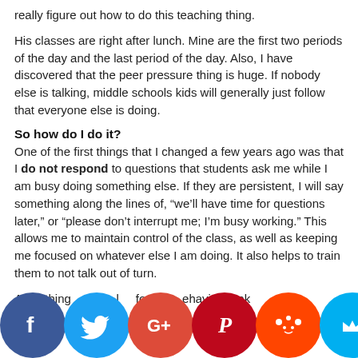really figure out how to do this teaching thing.
His classes are right after lunch. Mine are the first two periods of the day and the last period of the day. Also, I have discovered that the peer pressure thing is huge. If nobody else is talking, middle schools kids will generally just follow that everyone else is doing.
So how do I do it?
One of the first things that I changed a few years ago was that I do not respond to questions that students ask me while I am busy doing something else. If they are persistent, I will say something along the lines of, “we’ll have time for questions later,” or “please don’t interrupt me; I’m busy working.” This allows me to maintain control of the class, as well as keeping me focused on whatever else I am doing. It also helps to train them to not talk out of turn.
A… thing… do is l… force… ehavi… Thank… e… m… o… to… u…
[Figure (infographic): Social media sharing icons row: Facebook (blue), Twitter (light blue), Google+ (red-orange), Pinterest (dark red), Reddit (orange), unknown (light blue crown icon)]